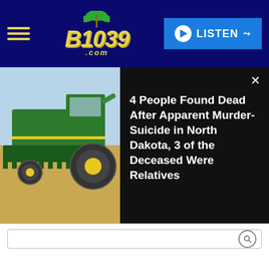[Figure (screenshot): B1039.com radio station website header with hamburger menu, yellow italic B1039 logo with palm tree, and blue LISTEN button]
[Figure (photo): Green John Deere combine harvester working in a field]
4 People Found Dead After Apparent Murder-Suicide in North Dakota, 3 of the Deceased Were Relatives
Minnesota
They call it the Juicy Nookie, a wonderfully simple work of art—quality meat oozing your choice of American or cheddar in a soft bun